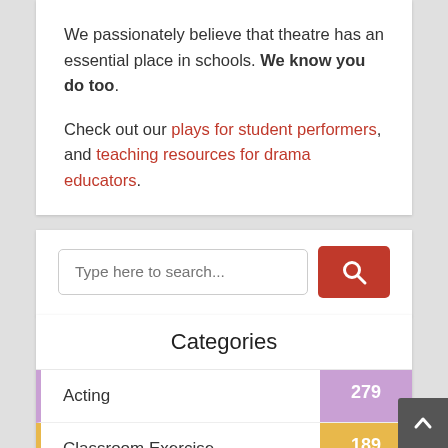We passionately believe that theatre has an essential place in schools. We know you do too.

Check out our plays for student performers, and teaching resources for drama educators.
[Figure (screenshot): Search box with text 'Type here to search...' and a red search button with magnifying glass icon]
Categories
Acting 279
Classroom Exercise 189
Classroom Management 26